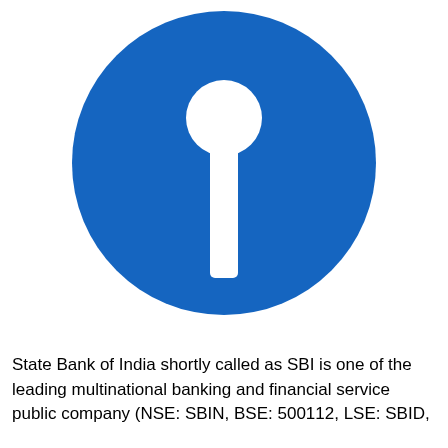[Figure (logo): State Bank of India (SBI) logo — a large blue circle with a white keyhole/lollipop shape (circle on top of a vertical stem) centered within it, representing the SBI brand mark.]
State Bank of India shortly called as SBI is one of the leading multinational banking and financial service public company (NSE: SBIN, BSE: 500112, LSE: SBID,